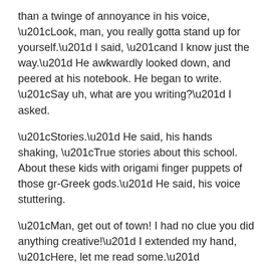than a twinge of annoyance in his voice, “Look, man, you really gotta stand up for yourself.” I said, “and I know just the way.” He awkwardly looked down, and peered at his notebook. He began to write. “Say uh, what are you writing?” I asked.
“Stories.” He said, his hands shaking, “True stories about this school. About these kids with origami finger puppets of those gr-Greek gods.” He said, his voice stuttering.
“Man, get out of town! I had no clue you did anything creative!” I extended my hand, “Here, let me read some.”
He put his hand on his notebook and pulled it away, “No, no, no, I never let anyone read my stories.”
“Why not?” I asked.